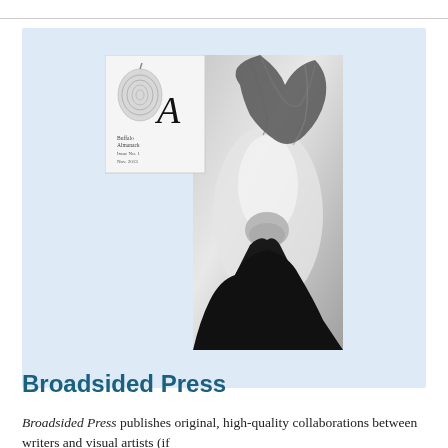[Figure (photo): A magazine cover image composite: on the left is a small literary magazine cover showing a fingerprint/apple illustration with the letter 'A' and text reading 'Buffalo Almanack, Issue No. 1, Nov. 2013'. On the right is a black-and-white photograph of a person viewed upside-down with long dark hair flowing upward, silhouetted in dramatic lighting.]
Broadsided Press
Broadsided Press publishes original, high-quality collaborations between writers and visual artists (if